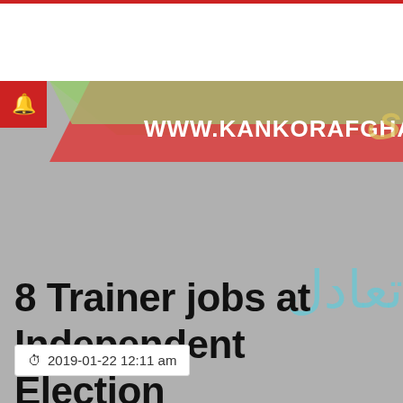[Figure (screenshot): Website banner for www.kankorafghanis showing diagonal red/green stripe with URL text, gray background, notification bell icon, Arabic text overlay in light blue, and a job posting title.]
8 Trainer jobs at Independent Election Commission – kabul
2019-01-22 12:11 am